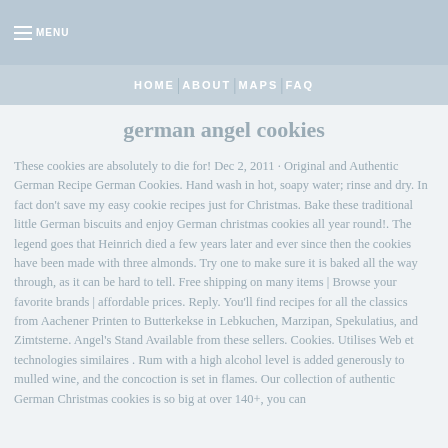MENU
HOME | ABOUT | MAPS | FAQ
german angel cookies
These cookies are absolutely to die for! Dec 2, 2011 · Original and Authentic German Recipe German Cookies. Hand wash in hot, soapy water; rinse and dry. In fact don't save my easy cookie recipes just for Christmas. Bake these traditional little German biscuits and enjoy German christmas cookies all year round!. The legend goes that Heinrich died a few years later and ever since then the cookies have been made with three almonds. Try one to make sure it is baked all the way through, as it can be hard to tell. Free shipping on many items | Browse your favorite brands | affordable prices. Reply. You'll find recipes for all the classics from Aachener Printen to Butterkekse in Lebkuchen, Marzipan, Spekulatius, and Zimtsterne. Angel's Stand Available from these sellers. Cookies. Utilises Web et technologies similaires . Rum with a high alcohol level is added generously to mulled wine, and the concoction is set in flames. Our collection of authentic German Christmas cookies is so big at over 140+, you can